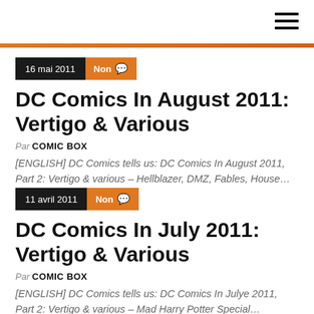≡ (hamburger menu)
16 mai 2011   Non 💬
DC Comics In August 2011: Vertigo & Various
Par COMIC BOX
[ENGLISH] DC Comics tells us: DC Comics In August 2011, Part 2: Vertigo & various – Hellblazer, DMZ, Fables, House…
11 avril 2011   Non 💬
DC Comics In July 2011: Vertigo & Various
Par COMIC BOX
[ENGLISH] DC Comics tells us: DC Comics In Julye 2011, Part 2: Vertigo & various – Mad Harry Potter Special…